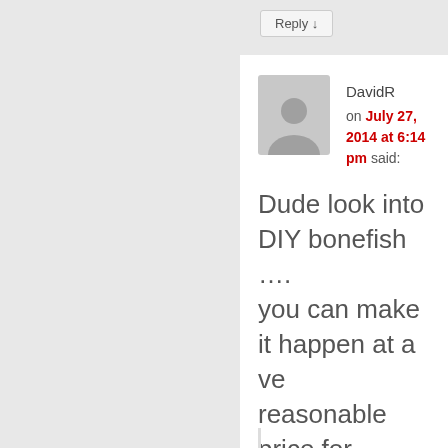Reply ↓
DavidR on July 27, 2014 at 6:14 pm said:
Dude look into DIY bonefish …. you can make it happen at a very reasonable price for yourself. May not catch as many but you'll see them and land them and feel twice as good about it for a fraction of the cost.
Reply ↓